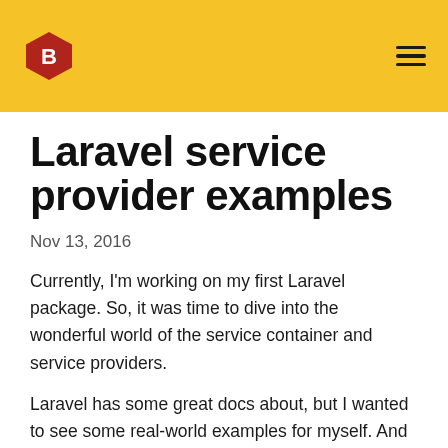B [logo] [hamburger menu]
Laravel service provider examples
Nov 13, 2016
Currently, I'm working on my first Laravel package. So, it was time to dive into the wonderful world of the service container and service providers.
Laravel has some great docs about, but I wanted to see some real-world examples for myself. And what better way than to have a look at the packages that you already depend on?